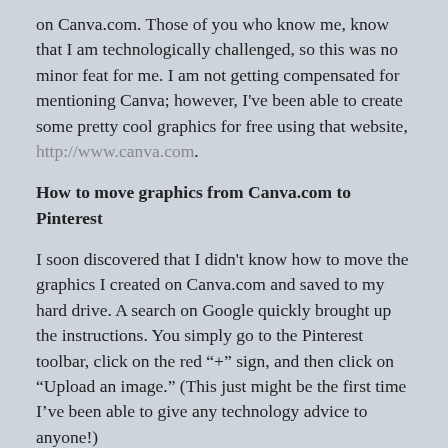on Canva.com. Those of you who know me, know that I am technologically challenged, so this was no minor feat for me. I am not getting compensated for mentioning Canva; however, I've been able to create some pretty cool graphics for free using that website, http://www.canva.com.
How to move graphics from Canva.com to Pinterest
I soon discovered that I didn't know how to move the graphics I created on Canva.com and saved to my hard drive. A search on Google quickly brought up the instructions. You simply go to the Pinterest toolbar, click on the red "+" sign, and then click on "Upload an image." (This just might be the first time I've been able to give any technology advice to anyone!)